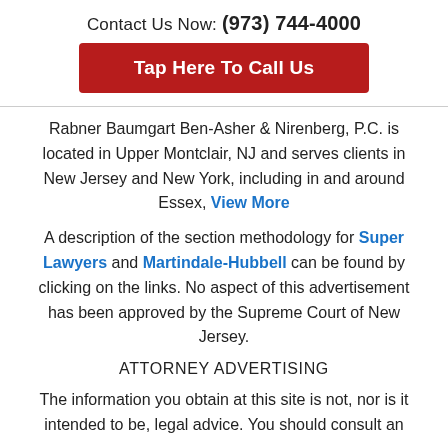Contact Us Now: (973) 744-4000
Tap Here To Call Us
Rabner Baumgart Ben-Asher & Nirenberg, P.C. is located in Upper Montclair, NJ and serves clients in New Jersey and New York, including in and around Essex, View More
A description of the section methodology for Super Lawyers and Martindale-Hubbell can be found by clicking on the links. No aspect of this advertisement has been approved by the Supreme Court of New Jersey.
ATTORNEY ADVERTISING
The information you obtain at this site is not, nor is it intended to be, legal advice. You should consult an